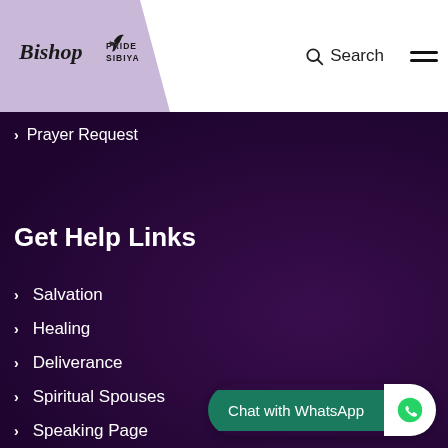Bishop Pride Sibiya — Search
Prayer Request
Get Help Links
Salvation
Healing
Deliverance
Spiritual Spouses
Speaking Page
Prayer Request
Chat with WhatsApp